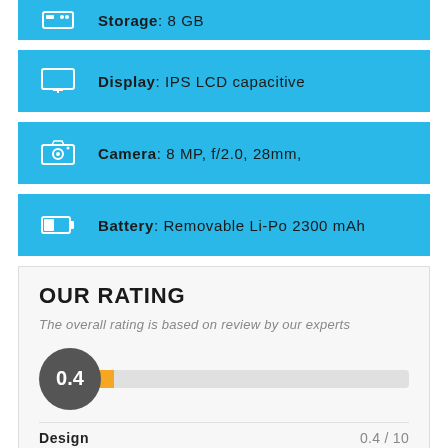Storage: 8 GB
Display: IPS LCD capacitive
Camera: 8 MP, f/2.0, 28mm,
Battery: Removable Li-Po 2300 mAh
OUR RATING
The overall rating is based on review by our experts
[Figure (infographic): Rating bar with circle showing 0.4 score and orange/grey progress bar]
Design   0.4 / 10